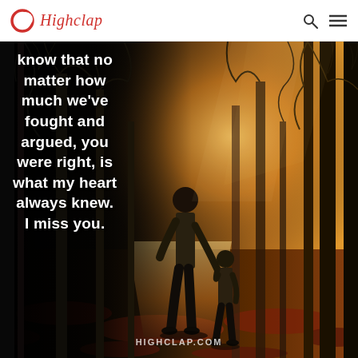Highclap
[Figure (illustration): A father and child walking hand-in-hand down a forest path illuminated by warm golden light filtering through bare autumn trees, with fallen red leaves on the ground. The left side of the image is dark/black with bold white text overlay.]
know that no matter how much we've fought and argued, you were right, is what my heart always knew. I miss you.
HIGHCLAP.COM